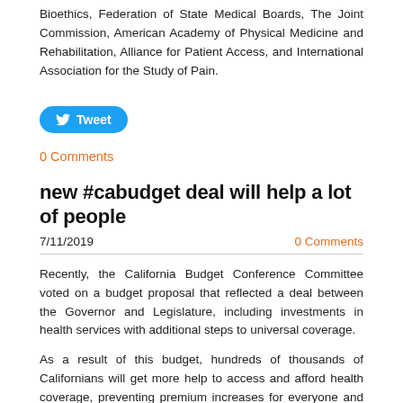Bioethics, Federation of State Medical Boards, The Joint Commission, American Academy of Physical Medicine and Rehabilitation, Alliance for Patient Access, and International Association for the Study of Pain.
[Figure (other): Twitter Tweet button with bird icon]
0 Comments
new #cabudget deal will help a lot of people
7/11/2019
0 Comments
Recently, the California Budget Conference Committee voted on a budget proposal that reflected a deal between the Governor and Legislature, including investments in health services with additional steps to universal coverage.
As a result of this budget, hundreds of thousands of Californians will get more help to access and afford health coverage, preventing premium increases for everyone and benefiting the health system we all rely on.